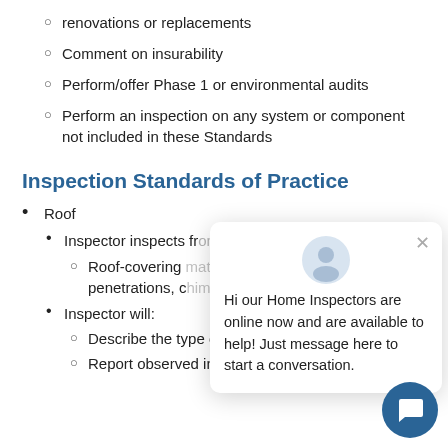renovations or replacements
Comment on insurability
Perform/offer Phase 1 or environmental audits
Perform an inspection on any system or component not included in these Standards
Inspection Standards of Practice
Roof
Inspector inspects fr…
Roof-covering… flashing, vents,… penetrations, c…
Inspector will:
Describe the type of roof covering materia…
Report observed indicators of active roof l…
[Figure (screenshot): Chat popup overlay with avatar icon and message: 'Hi our Home Inspectors are online now and are available to help! Just message here to start a conversation.' with a close button, and a blue circular chat button in the bottom right corner.]